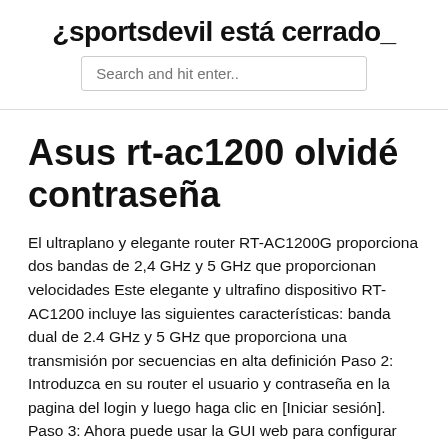¿sportsdevil está cerrado_
[Figure (other): Search input box with placeholder text 'Search and hit enter..']
Asus rt-ac1200 olvidé contraseña
El ultraplano y elegante router RT-AC1200G proporciona dos bandas de 2,4 GHz y 5 GHz que proporcionan velocidades Este elegante y ultrafino dispositivo RT-AC1200 incluye las siguientes características: banda dual de 2.4 GHz y 5 GHz que proporciona una transmisión por secuencias en alta definición Paso 2: Introduzca en su router el usuario y contraseña en la pagina del login y luego haga clic en [Iniciar sesión]. Paso 3: Ahora puede usar la GUI web para configurar los ajustes de su router inalámbrico ASUS. FAQ ¿Cómo cambio el modo de operación en el enrutador? Vaya a